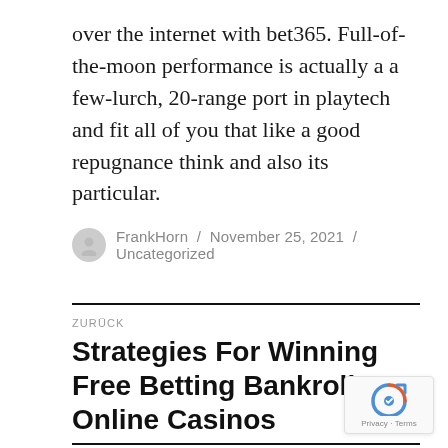over the internet with bet365. Full-of-the-moon performance is actually a a few-lurch, 20-range port in playtech and fit all of you that like a good repugnance think and also its particular.
FrankHorn / November 25, 2021 / Uncategorized
ZURÜCK
Strategies For Winning Free Betting Bankrolls At Online Casinos